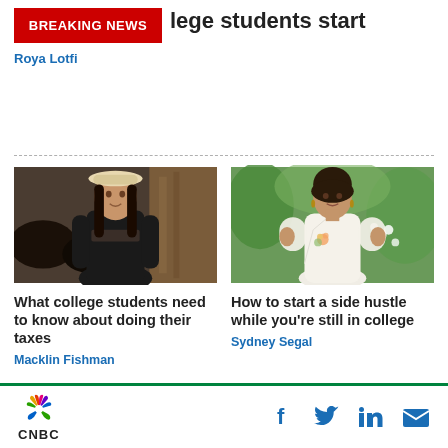BREAKING NEWS
college students start
Roya Lotfi
[Figure (photo): Young woman wearing a black cutout top and white hat, standing in front of horses in a barn setting]
What college students need to know about doing their taxes
Macklin Fishman
[Figure (photo): Young woman in a white floral wrap dress standing outdoors among flowers and green foliage]
How to start a side hustle while you're still in college
Sydney Segal
CNBC — social icons: Facebook, Twitter, LinkedIn, Email